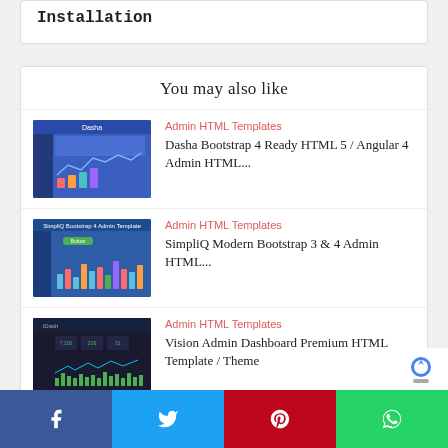Installation
You may also like
Admin HTML Templates
Dasha Bootstrap 4 Ready HTML 5 / Angular 4 Admin HTML...
[Figure (screenshot): Dasha admin HTML template preview screenshot with blue dashboard UI]
Admin HTML Templates
SimpliQ Modern Bootstrap 3 & 4 Admin HTML...
[Figure (screenshot): SimpliQ Bootstrap admin template preview screenshot with blue UI and charts]
Admin HTML Templates
Vision Admin Dashboard Premium HTML Template / Theme
[Figure (screenshot): Vision admin dashboard template preview with dark header and green bar charts]